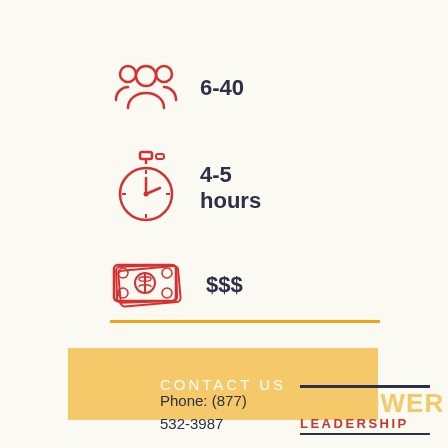[Figure (illustration): Red outline icon of group of people (participants), with text '6-40' beside it]
[Figure (illustration): Red outline icon of a stopwatch/clock, with text '4-5 hours' beside it]
[Figure (illustration): Red outline icon of money/cash bills, with text '$$$' beside it]
[Figure (other): Golden/yellow horizontal divider line]
[Figure (other): Golden/yellow 'CONTACT US' button]
Phone: (877) 532-3987
[Figure (logo): Empower Leadership logo with yellow EMPOWER text and red LEADERSHIP text]